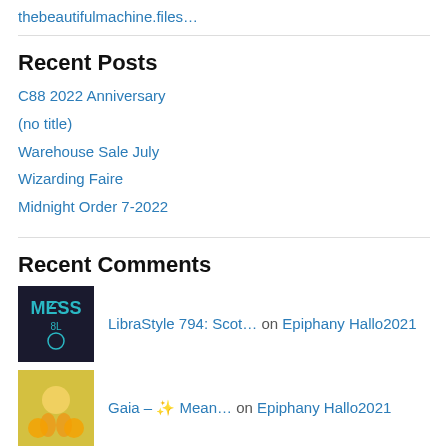thebeautifulmachine.files…
Recent Posts
C88 2022 Anniversary
(no title)
Warehouse Sale July
Wizarding Faire
Midnight Order 7-2022
Recent Comments
LibraStyle 794: Scot… on Epiphany Hallo2021
Gaia – ✨ Mean… on Epiphany Hallo2021
Hands – DevaSt… on Petrichor @ Salem!